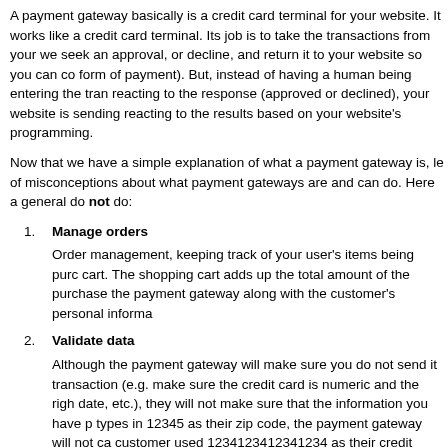A payment gateway basically is a credit card terminal for your website. It works like a credit card terminal. Its job is to take the transactions from your we seek an approval, or decline, and return it to your website so you can co form of payment). But, instead of having a human being entering the tran reacting to the response (approved or declined), your website is sending reacting to the results based on your website's programming.
Now that we have a simple explanation of what a payment gateway is, le of misconceptions about what payment gateways are and can do. Here a general do not do:
Manage orders
Order management, keeping track of your user's items being purc cart. The shopping cart adds up the total amount of the purchase the payment gateway along with the customer's personal informa
Validate data
Although the payment gateway will make sure you do not send it transaction (e.g. make sure the credit card is numeric and the righ date, etc.), they will not make sure that the information you have p types in 12345 as their zip code, the payment gateway will not ca customer used 1234123412341234 as their credit card number. B programming to catch and react to.
Here are a couple things that a payment gateway is not:
A merchant account
As mentioned above, a payment gateway connects to a merchan account that can authorize your credit card transaction. Th